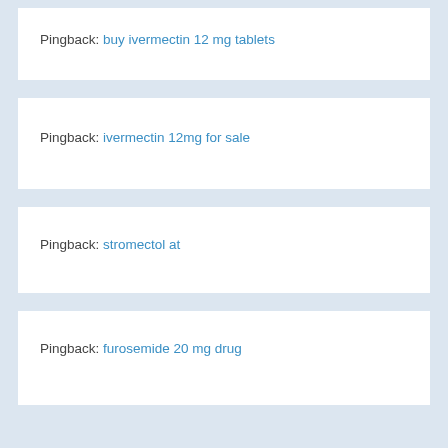Pingback: buy ivermectin 12 mg tablets
Pingback: ivermectin 12mg for sale
Pingback: stromectol at
Pingback: furosemide 20 mg drug